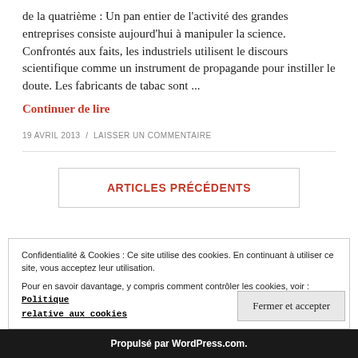de la quatrième: Un pan entier de l'activité des grandes entreprises consiste aujourd'hui à manipuler la science. Confrontés aux faits, les industriels utilisent le discours scientifique comme un instrument de propagande pour instiller le doute. Les fabricants de tabac sont ...
Continuer de lire
19 AVRIL 2013 / LAISSER UN COMMENTAIRE
ARTICLES PRÉCÉDENTS
Confidentialité & Cookies : Ce site utilise des cookies. En continuant à utiliser ce site, vous acceptez leur utilisation. Pour en savoir davantage, y compris comment contrôler les cookies, voir : Politique relative aux cookies
Fermer et accepter
Propulsé par WordPress.com.